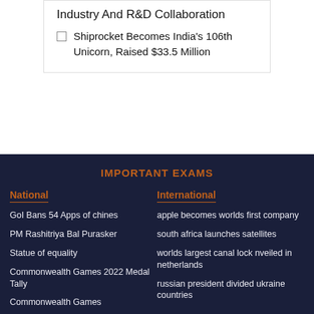Industry And R&D Collaboration
Shiprocket Becomes India's 106th Unicorn, Raised $33.5 Million
IMPORTANT EXAMS
National
International
GoI Bans 54 Apps of chines
PM Rashitriya Bal Purasker
Statue of equality
Commonwealth Games 2022 Medal Tally
Commonwealth Games
apple becomes worlds first company
south africa launches satellites
worlds largest canal lock nveiled in netherlands
russian president divided ukraine countries